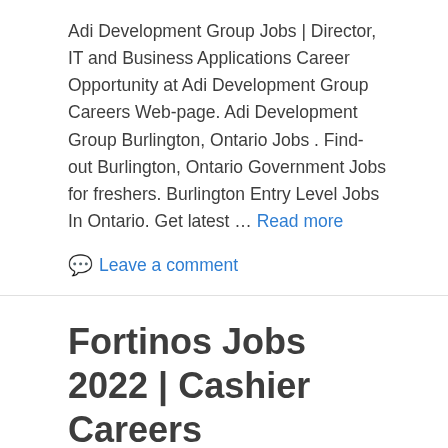Adi Development Group Jobs | Director, IT and Business Applications Career Opportunity at Adi Development Group Careers Web-page. Adi Development Group Burlington, Ontario Jobs . Find-out Burlington, Ontario Government Jobs for freshers. Burlington Entry Level Jobs In Ontario. Get latest … Read more
Leave a comment
Fortinos Jobs 2022 | Cashier Careers Opportunity at Fortinos Careers Portal In Burlington, Ontario